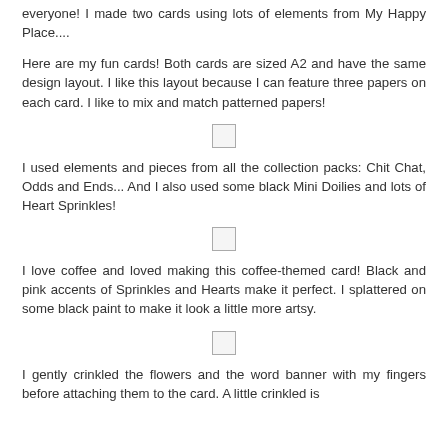everyone! I made two cards using lots of elements from My Happy Place....
Here are my fun cards! Both cards are sized A2 and have the same design layout. I like this layout because I can feature three papers on each card. I like to mix and match patterned papers!
[Figure (other): Small placeholder image icon]
I used elements and pieces from all the collection packs: Chit Chat, Odds and Ends... And I also used some black Mini Doilies and lots of Heart Sprinkles!
[Figure (other): Small placeholder image icon]
I love coffee and loved making this coffee-themed card! Black and pink accents of Sprinkles and Hearts make it perfect. I splattered on some black paint to make it look a little more artsy.
[Figure (other): Small placeholder image icon]
I gently crinkled the flowers and the word banner with my fingers before attaching them to the card. A little crinkled is...